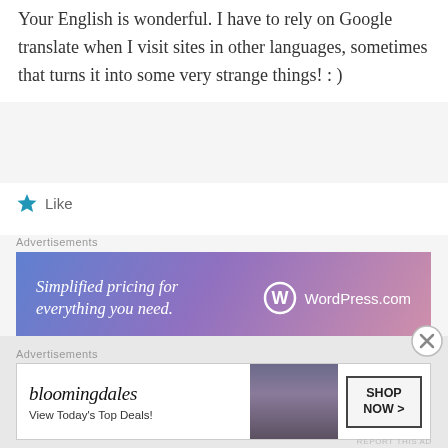Your English is wonderful. I have to rely on Google translate when I visit sites in other languages, sometimes that turns it into some very strange things! : )
Like
Advertisements
[Figure (screenshot): WordPress.com advertisement banner: 'Simplified pricing for everything you need.' with WordPress.com logo on blue-purple-pink gradient background]
REPORT THIS AD
cristina
august 5, 2012 at 10:49 am
Advertisements
[Figure (screenshot): Bloomingdales advertisement banner: 'View Today's Top Deals!' with SHOP NOW > button]
REPORT THIS AD